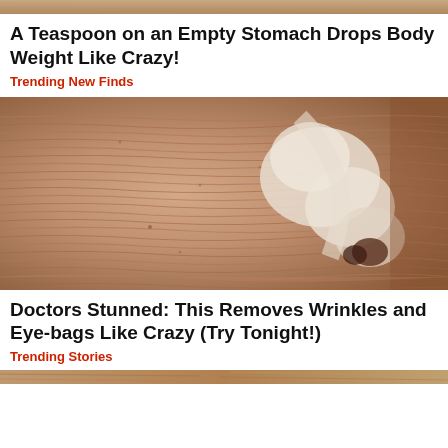[Figure (photo): Top partial image strip of a photo (cropped banner)]
A Teaspoon on an Empty Stomach Drops Body Weight Like Crazy!
Trending New Finds
[Figure (photo): Close-up photo of elderly person's wrinkled face with white cream applied]
Doctors Stunned: This Removes Wrinkles and Eye-bags Like Crazy (Try Tonight!)
Trending Stories
[Figure (photo): Bottom partial image strip (cropped)]